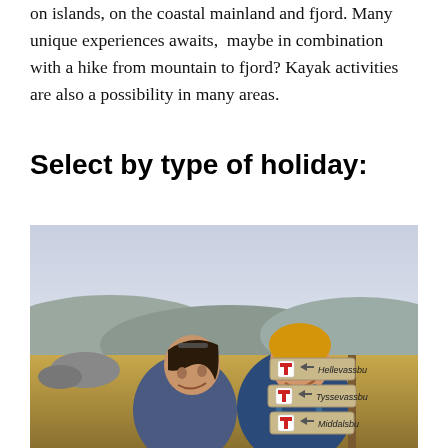on islands, on the coastal mainland and fjord. Many unique experiences awaits,  maybe in combination with a hike from mountain to fjord? Kayak activities are also a possibility in many areas.
Select by type of holiday:
[Figure (photo): Two women hikers laughing outdoors next to a wooden trail signpost showing directions to Hellevassbu, Tyssevassbu, and Middalsbu with red T markers, mountain landscape in background.]